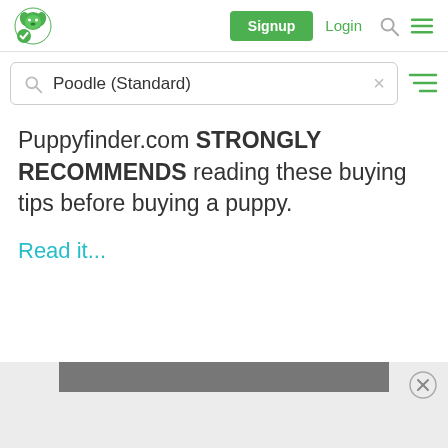[Figure (screenshot): Puppyfinder.com website screenshot showing navigation bar with logo, Signup button, Login link, search and menu icons]
[Figure (screenshot): Search bar with text 'Poodle (Standard)' and filter icon]
Puppyfinder.com STRONGLY RECOMMENDS reading these buying tips before buying a puppy.
Read it...
[Figure (screenshot): Bottom advertisement bar with close button]